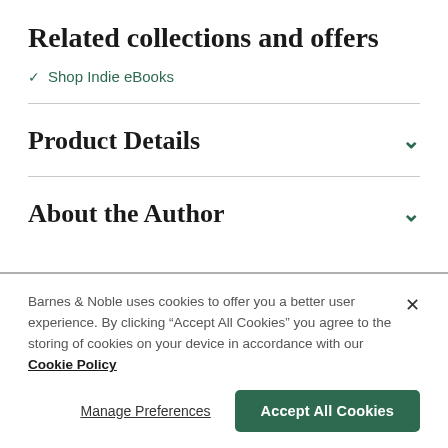Related collections and offers
Shop Indie eBooks
Product Details
About the Author
Barnes & Noble uses cookies to offer you a better user experience. By clicking "Accept All Cookies" you agree to the storing of cookies on your device in accordance with our Cookie Policy
Manage Preferences
Accept All Cookies